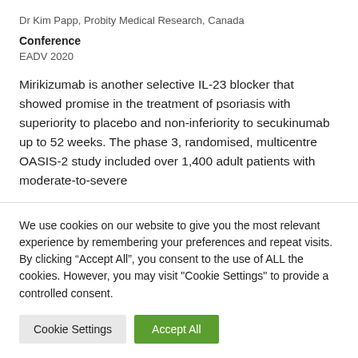Dr Kim Papp, Probity Medical Research, Canada
Conference
EADV 2020
Mirikizumab is another selective IL-23 blocker that showed promise in the treatment of psoriasis with superiority to placebo and non-inferiority to secukinumab up to 52 weeks. The phase 3, randomised, multicentre OASIS-2 study included over 1,400 adult patients with moderate-to-severe
We use cookies on our website to give you the most relevant experience by remembering your preferences and repeat visits. By clicking “Accept All”, you consent to the use of ALL the cookies. However, you may visit "Cookie Settings" to provide a controlled consent.